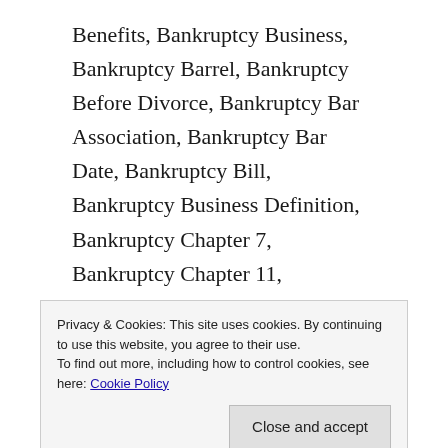Benefits, Bankruptcy Business, Bankruptcy Barrel, Bankruptcy Before Divorce, Bankruptcy Bar Association, Bankruptcy Bar Date, Bankruptcy Bill, Bankruptcy Business Definition, Bankruptcy Chapter 7, Bankruptcy Chapter 11, Bankruptcy Court, Bankruptcy Code, Bankruptcy Chapters, Bankruptcy Cost, Bankruptcy Chapter 13 Definition, Bankruptcy Car Loan, Bankruptcy Court Records, Bankruptcy Chapter 7 Forms, Bankruptcy Definition, Bankruptcy Discharge, Bankruptcy Definition Economics, Bankruptcy Dismissal, Bankruptcy Documents, Bankruptcy...
Privacy & Cookies: This site uses cookies. By continuing to use this website, you agree to their use. To find out more, including how to control cookies, see here: Cookie Policy
Bankruptcy Eu4, Bankruptcy Exemptions By State,